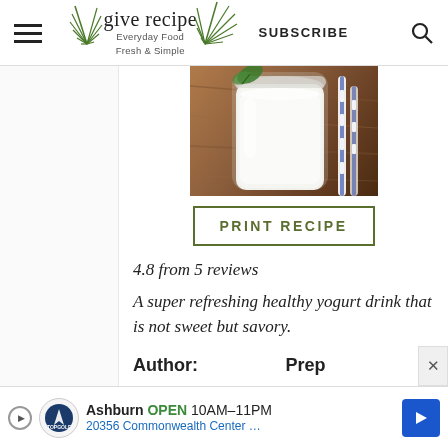give recipe — Everyday Food Fresh & Simple | SUBSCRIBE
[Figure (photo): A glass jar filled with white yogurt drink (ayran) on a wooden surface with blue and white striped straws]
PRINT RECIPE
4.8 from 5 reviews
A super refreshing healthy yogurt drink that is not sweet but savory.
Author:   Prep
Ashburn OPEN 10AM–11PM 20356 Commonwealth Center …